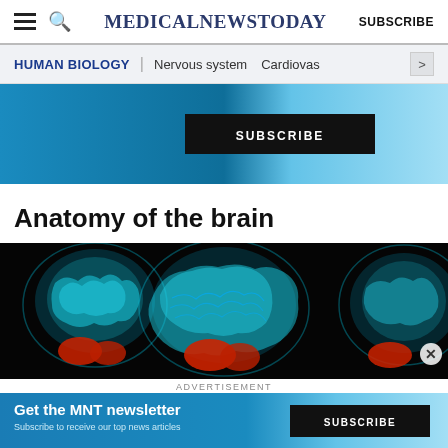MedicalNewsToday  SUBSCRIBE
HUMAN BIOLOGY | Nervous system  Cardiovas >
[Figure (screenshot): Advertisement banner with blue gradient background, black SUBSCRIBE button, and decorative circular medical imagery on the right.]
Anatomy of the brain
[Figure (photo): Three MRI brain scan images on a black background showing sagittal cross-sections of the brain in cyan/teal tones with red highlighted regions at the bottom. A close X button is visible at the bottom right.]
ADVERTISEMENT
[Figure (screenshot): Advertisement banner: 'Get the MNT newsletter — Subscribe to receive our top news articles.' with black SUBSCRIBE button on blue gradient background with decorative circular imagery.]